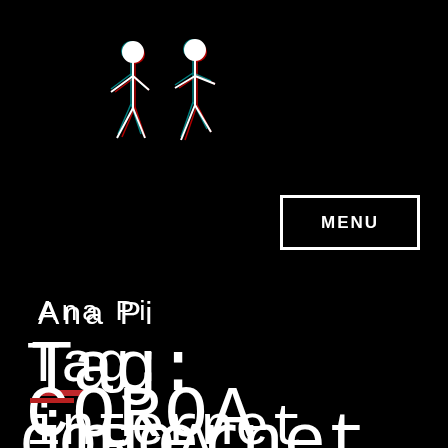[Figure (illustration): Two silhouetted human figures walking/dancing, rendered with a glitch/chromatic aberration effect in red, white, and cyan on a black background]
Ana Pi
Tag: internet
COROA